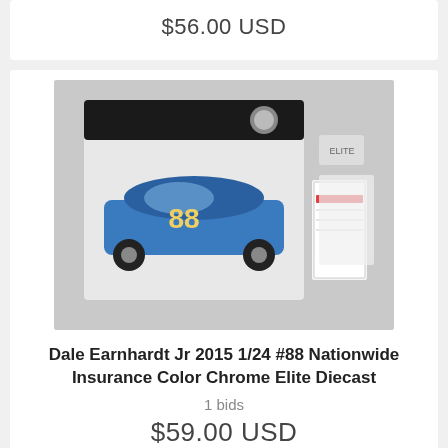$56.00 USD
[Figure (photo): Dale Earnhardt Jr #88 Nationwide Insurance Color Chrome Elite Diecast model car in open box with paperwork]
Dale Earnhardt Jr 2015 1/24 #88 Nationwide Insurance Color Chrome Elite Diecast
1 bids
$59.00 USD
[Figure (photo): Another view of Dale Earnhardt Jr #88 Nationwide Insurance Color Chrome Elite Diecast model car in open box]